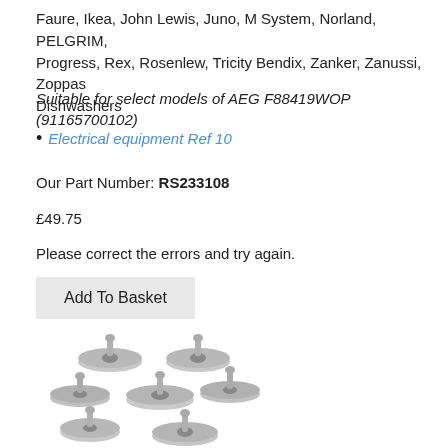Faure, Ikea, John Lewis, Juno, M System, Norland, PELGRIM, Progress, Rex, Rosenlew, Tricity Bendix, Zanker, Zanussi, Zoppas Dishwashers
Suitable for select models of AEG F88419WOP (91165700102)
Electrical equipment Ref 10
Our Part Number: RS233108
£49.75
Please correct the errors and try again.
Add To Basket
[Figure (photo): Multiple grey plastic dishwasher basket wheels/rollers arranged in a cluster, showing the round disc shape with central hub and clip mount]